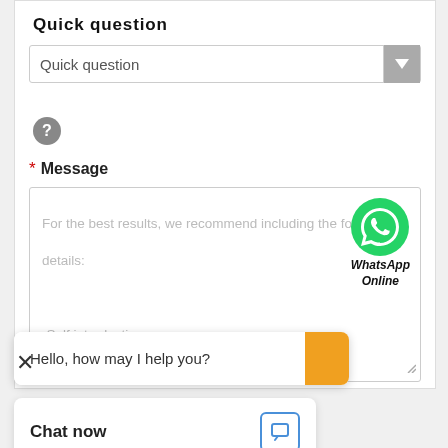Quick question
[Figure (screenshot): Dropdown selector showing 'Quick question' with a gray arrow button on the right]
[Figure (other): Gray circular help/question mark icon]
* Message
[Figure (screenshot): Textarea with placeholder text: 'For the best results, we recommend including the following details: -Self introduction -Required specifications -Inquire about price/MOQ' and WhatsApp Online badge in top right corner]
[Figure (screenshot): Chat popup bubble saying 'Hello, how may I help you?' with an orange block on the right]
[Figure (screenshot): Chat now bar with bold text 'Chat now' and blue chat icon on the right]